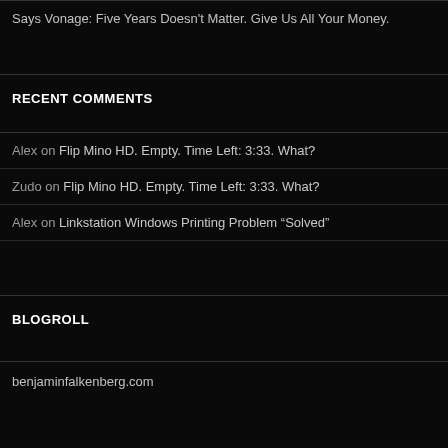Barcamp Milwaukee 7 Attendance Postmortem
Says Vonage: Five Years Doesn't Matter. Give Us All Your Money.
RECENT COMMENTS
Alex on Flip Mino HD. Empty. Time Left: 3:33. What?
Zudo on Flip Mino HD. Empty. Time Left: 3:33. What?
Alex on Linkstation Windows Printing Problem “Solved”
BLOGROLL
benjaminfalkenberg.com